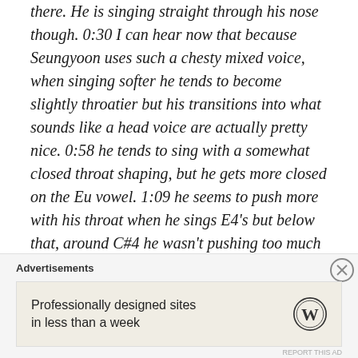there. He is singing straight through his nose though. 0:30 I can hear now that because Seungyoon uses such a chesty mixed voice, when singing softer he tends to become slightly throatier but his transitions into what sounds like a head voice are actually pretty nice. 0:58 he tends to sing with a somewhat closed throat shaping, but he gets more closed on the Eu vowel. 1:09 he seems to push more with his throat when he sings E4's but below that, around C#4 he wasn't pushing too much and support was there. 1:22 all the tension on his shoulders, it's so visible. F#4 and G#4. 1:25 somewhat
Advertisements
Professionally designed sites in less than a week